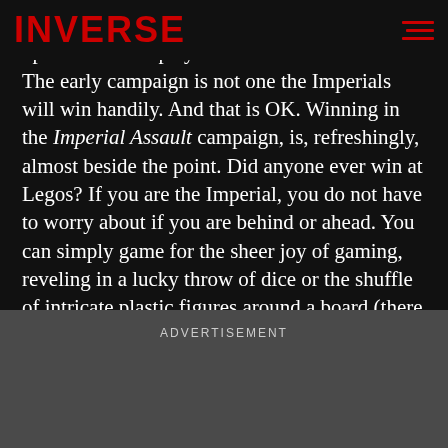INVERSE
Sith lords appear in later missions. Against you, up to four other players take on Rebel heroes. The early campaign is not one the Imperials will win handily. And that is OK. Winning in the Imperial Assault campaign, is, refreshingly, almost beside the point. Did anyone ever win at Legos? If you are the Imperial, you do not have to worry about if you are behind or ahead. You can simply game for the sheer joy of gaming, reveling in a lucky throw of dice or the shuffle of intricate plastic figures around a board (there will be plenty of both). You'll face the Rebels again in the next mission.
ADVERTISEMENT